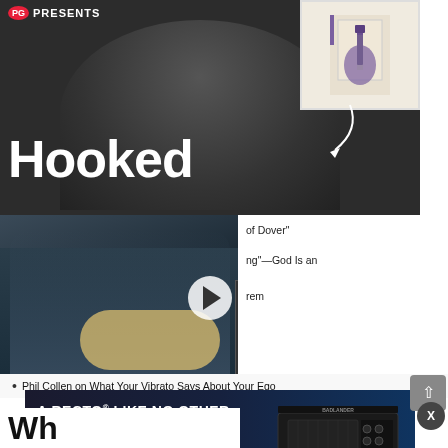[Figure (screenshot): PG Presents video thumbnail showing a man in a studio with 'Hooked' text overlay and a small framed guitar illustration in top right corner]
[Figure (screenshot): Video player showing a guitarist playing a Stratocaster-style guitar in front of amplifiers, with a play button overlay]
of Dover"
ng"—God Is an
rem
Phil Collen on What Your Vibrato Says About Your Ego
[Figure (screenshot): Mesa/Boogie Badlander Series advertisement: 'A RECTO LIKE NO OTHER - THE BADLANDER SERIES' with Learn More button and amp image]
Wh